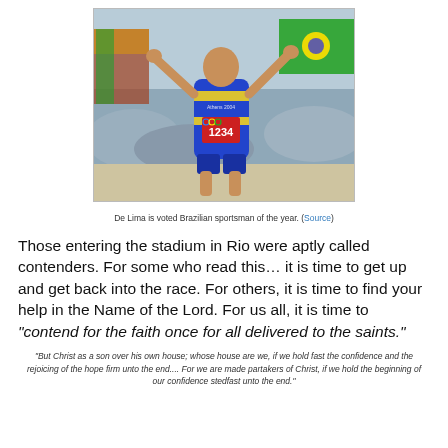[Figure (photo): Brazilian Olympic runner wearing bib number 1234 celebrating with arms raised, holding a Brazilian flag, at the 2004 Athens Olympics.]
De Lima is voted Brazilian sportsman of the year. (Source)
Those entering the stadium in Rio were aptly called contenders. For some who read this… it is time to get up and get back into the race. For others, it is time to find your help in the Name of the Lord. For us all, it is time to “contend for the faith once for all delivered to the saints.”
“But Christ as a son over his own house; whose house are we, if we hold fast the confidence and the rejoicing of the hope firm unto the end.... For we are made partakers of Christ, if we hold the beginning of our confidence stedfast unto the end.”